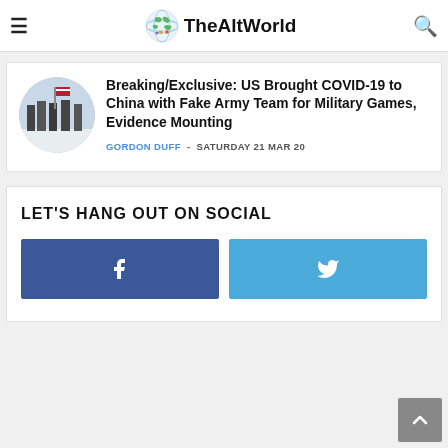TheAltWorld
[Figure (photo): Circular thumbnail image of soldiers in military uniforms with a flag in snowy conditions]
Breaking/Exclusive: US Brought COVID-19 to China with Fake Army Team for Military Games, Evidence Mounting
GORDON DUFF - SATURDAY 21 MAR 20
LET'S HANG OUT ON SOCIAL
[Figure (infographic): Facebook button (dark blue with f icon) and Twitter button (light blue with bird icon)]